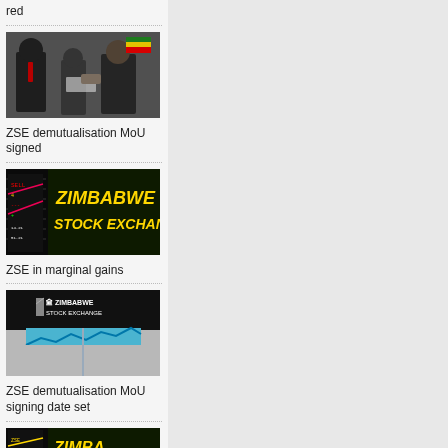red
[Figure (photo): Two men and a woman shaking hands in an office setting, Zimbabwe flag in background]
ZSE demutualisation MoU signed
[Figure (photo): Zimbabwe Stock Exchange illuminated sign in yellow text on dark background]
ZSE in marginal gains
[Figure (photo): Zimbabwe Stock Exchange logo on black background with stock chart graphic in blue and grey]
ZSE demutualisation MoU signing date set
[Figure (photo): Zimbabwe Stock Exchange illuminated sign, partial view at bottom of page]